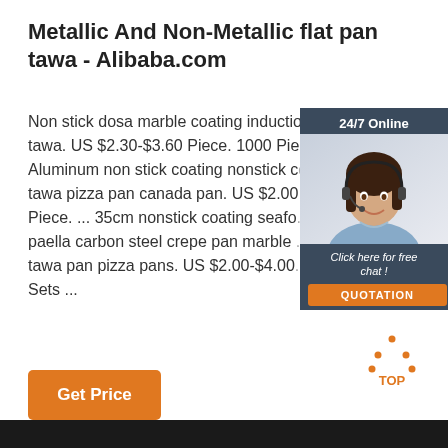Metallic And Non-Metallic flat pan tawa - Alibaba.com
Non stick dosa marble coating induction flat tawa. US $2.30-$3.60 Piece. 1000 Pie... Aluminum non stick coating nonstick d... tawa pizza pan canada pan. US $2.00 Piece. ... 35cm nonstick coating seafo... paella carbon steel crepe pan marble tawa pan pizza pans. US $2.00-$4.00 Sets ...
[Figure (other): Customer service chat widget showing a woman with headset, '24/7 Online' header, 'Click here for free chat!' text, and orange QUOTATION button]
[Figure (other): Orange 'Get Price' button]
[Figure (logo): Orange dotted triangle logo with 'TOP' text in orange]
[Figure (photo): Dark strip at bottom of page, partial view of a dark image]